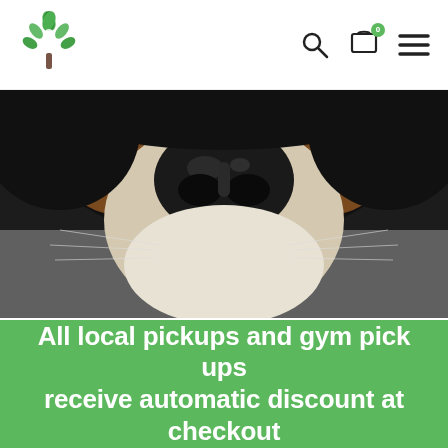Navigation bar with logo, search icon, cart icon (badge: 0), and menu icon
[Figure (photo): Close-up photograph of a dog's nose and face — a Bernese Mountain Dog with black, tan, and white fur, sniffing close to camera against a dark background]
[Figure (photo): Two photos side by side: left shows a woman with long blonde/dark hair touching her hair; right shows a woman smiling holding a brown shipping box]
All local pickups and gym pick ups receive automatic discount at checkout